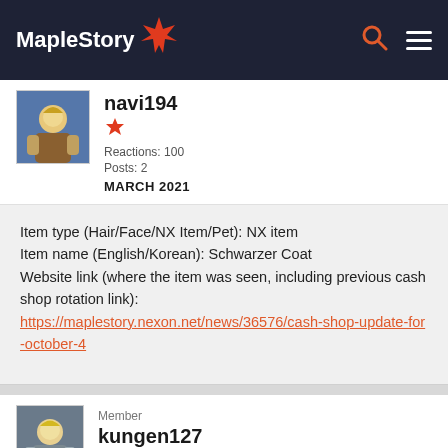MapleStory
navi194
Reactions: 100
Posts: 2
MARCH 2021
Item type (Hair/Face/NX Item/Pet): NX item
Item name (English/Korean): Schwarzer Coat
Website link (where the item was seen, including previous cash shop rotation link):
https://maplestory.nexon.net/news/36576/cash-shop-update-for-october-4
Member
kungen127